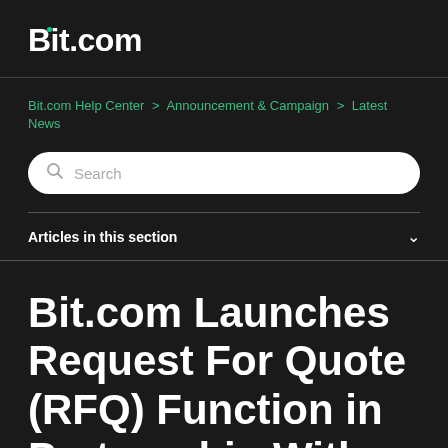Bit.com
Bit.com Help Center > Announcement & Campaign > Latest News
Search
Articles in this section
Bit.com Launches Request For Quote (RFQ) Function in Partnership With